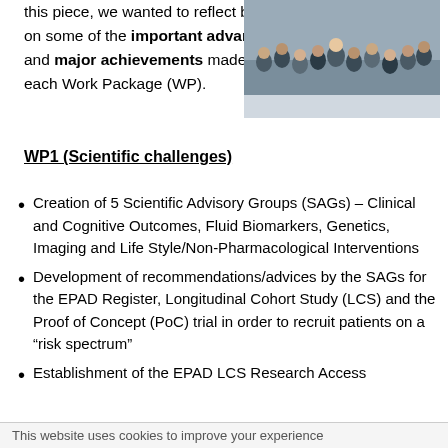this piece, we wanted to reflect back on some of the important advances and major achievements made by each Work Package (WP).
[Figure (photo): Group photo of people at a conference or meeting event]
WP1 (Scientific challenges)
Creation of 5 Scientific Advisory Groups (SAGs) – Clinical and Cognitive Outcomes, Fluid Biomarkers, Genetics, Imaging and Life Style/Non-Pharmacological Interventions
Development of recommendations/advices by the SAGs for the EPAD Register, Longitudinal Cohort Study (LCS) and the Proof of Concept (PoC) trial in order to recruit patients on a “risk spectrum”
Establishment of the EPAD LCS Research Access
This website uses cookies to improve your experience